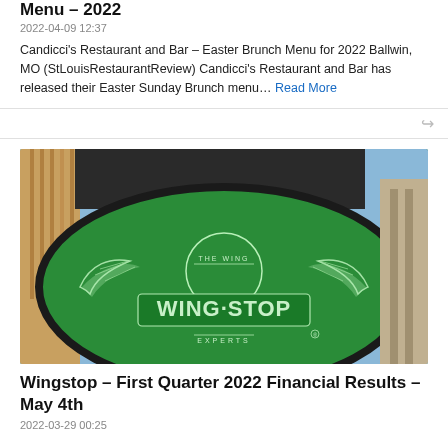Menu – 2022
2022-04-09 12:37
Candicci's Restaurant and Bar – Easter Brunch Menu for 2022 Ballwin, MO (StLouisRestaurantReview) Candicci's Restaurant and Bar has released their Easter Sunday Brunch menu… Read More
[Figure (photo): Wingstop green oval sign with winged logo reading 'THE WING WINGSTOP EXPERTS' mounted on a building exterior]
Wingstop – First Quarter 2022 Financial Results – May 4th
2022-03-29 00:25